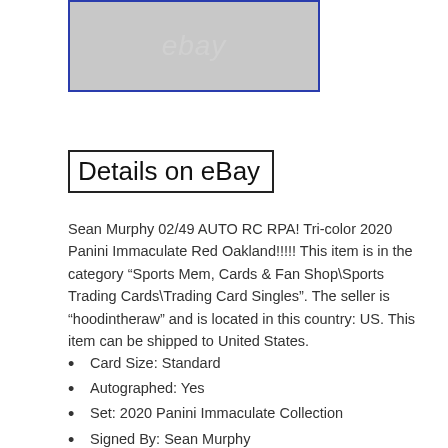[Figure (screenshot): eBay logo/watermark on grey background with blue border]
Details on eBay
Sean Murphy 02/49 AUTO RC RPA! Tri-color 2020 Panini Immaculate Red Oakland!!!!! This item is in the category “Sports Mem, Cards & Fan Shop\Sports Trading Cards\Trading Card Singles”. The seller is “hoodintheraw” and is located in this country: US. This item can be shipped to United States.
Card Size: Standard
Autographed: Yes
Set: 2020 Panini Immaculate Collection
Signed By: Sean Murphy
Autograph Format: Hard Signed
Custom Bundle: No
Player/Athlete: Sean Murphy
Year Manufactured: 2020